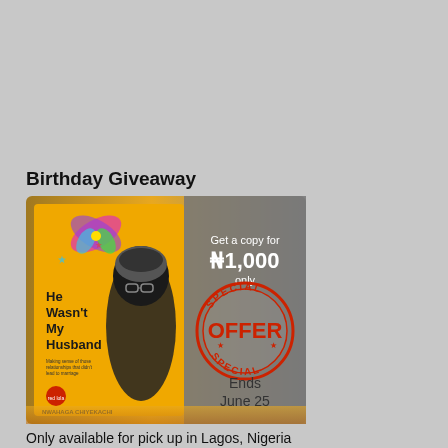Birthday Giveaway
[Figure (illustration): Book promotional banner showing the book 'He Wasn't My Husband' by Nwahaga Chiyekachi on a yellow background with a woman wearing glasses and head wrap. Right side shows 'Get a copy for ₦1,000 only' with a red SPECIAL OFFER stamp and 'Ends June 25' text.]
Only available for pick up in Lagos, Nigeria